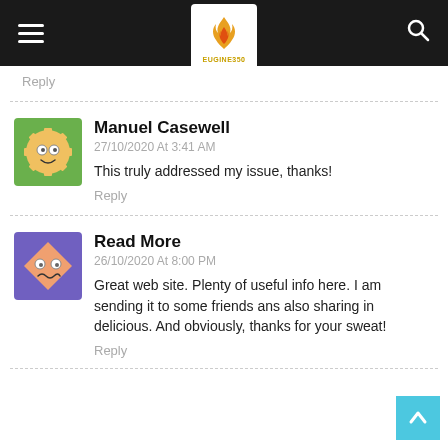EUGINE350 website header with hamburger menu, logo, and search icon
Reply
Manuel Casewell
27/10/2020 At 3:41 AM
This truly addressed my issue, thanks!
Reply
Read More
26/10/2020 At 8:00 PM
Great web site. Plenty of useful info here. I am sending it to some friends ans also sharing in delicious. And obviously, thanks for your sweat!
Reply